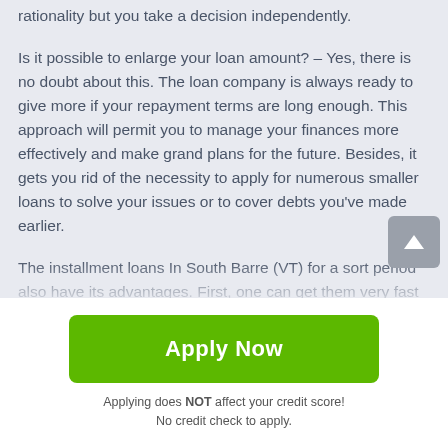rationality but you take a decision independently.
Is it possible to enlarge your loan amount? – Yes, there is no doubt about this. The loan company is always ready to give more if your repayment terms are long enough. This approach will permit you to manage your finances more effectively and make grand plans for the future. Besides, it gets you rid of the necessity to apply for numerous smaller loans to solve your issues or to cover debts you've made earlier.
The installment loans In South Barre (VT) for a sort period also have its advantages. First, one can get them very fast that would be rather hard to do when applying for a common bank. That' why it is a perfect way out in case of
[Figure (other): Green 'Apply Now' button]
Applying does NOT affect your credit score!
No credit check to apply.